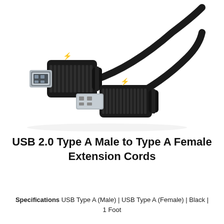[Figure (photo): Product photo of a USB 2.0 Type A Male to Type A Female extension cable, showing both the female end (left, silver receptacle with black housing) and the male end (right, silver plug with black housing), connected by a black cable.]
USB 2.0 Type A Male to Type A Female Extension Cords
Specifications USB Type A (Male) | USB Type A (Female) | Black | 1 Foot